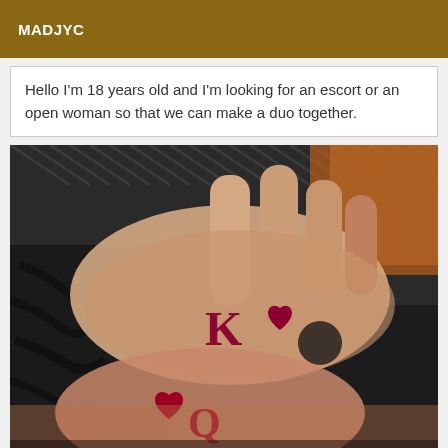MADJYC
Hello I'm 18 years old and I'm looking for an escort or an open woman so that we can make a duo together.
[Figure (photo): Close-up photograph of two hands with tattoos. One hand shows a 'K' (King) and heart tattoo, the other shows a heart and 'Q' (Queen) tattoo, interlocked together against a wicker/rattan background.]